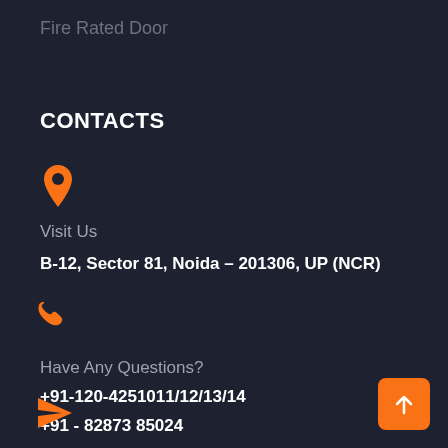Fire Rated Door
CONTACTS
[Figure (illustration): Orange map/location pin icon]
Visit Us
B-12, Sector 81, Noida – 201306, UP (NCR)
[Figure (illustration): Orange telephone/phone icon]
Have Any Questions?
+91-120-4251011/12/13/14
+91 - 82873 85024
[Figure (illustration): Orange paper plane / email icon]
[Figure (illustration): Orange scroll-to-top button with upward arrow]